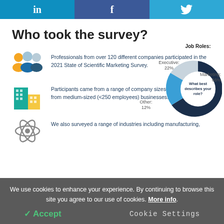LinkedIn | Facebook | Twitter
Who took the survey?
[Figure (illustration): Three professional figures icon (people silhouettes)]
Professionals from over 120 different companies participated in the 2021 State of Scientific Marketing Survey.
[Figure (illustration): Building/office icon with teal and yellow colors]
Participants came from a range of company sizes. The majority came from medium-sized (<250 employees) businesses.
[Figure (illustration): Atom/science icon in gray]
We also surveyed a range of industries including manufacturing,
[Figure (donut-chart): Job Roles]
We use cookies to enhance your experience. By continuing to browse this site you agree to our use of cookies. More info.
✓ Accept
Cookie Settings